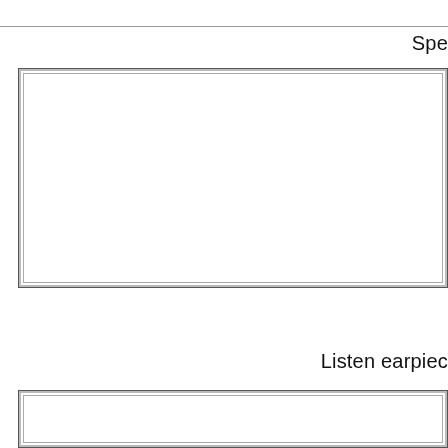Spe
[Figure (schematic): Large empty bordered rectangle box, representing a schematic component or form field area]
Listen earpiec
[Figure (schematic): Smaller empty bordered rectangle box at the bottom, representing another schematic component or form field area]